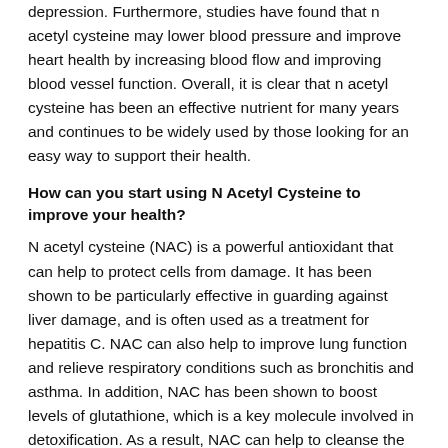depression. Furthermore, studies have found that n acetyl cysteine may lower blood pressure and improve heart health by increasing blood flow and improving blood vessel function. Overall, it is clear that n acetyl cysteine has been an effective nutrient for many years and continues to be widely used by those looking for an easy way to support their health.
How can you start using N Acetyl Cysteine to improve your health?
N acetyl cysteine (NAC) is a powerful antioxidant that can help to protect cells from damage. It has been shown to be particularly effective in guarding against liver damage, and is often used as a treatment for hepatitis C. NAC can also help to improve lung function and relieve respiratory conditions such as bronchitis and asthma. In addition, NAC has been shown to boost levels of glutathione, which is a key molecule involved in detoxification. As a result, NAC can help to cleanse the body of harmful toxins and pollutants. NAC is available in supplement form, and can be taken orally or intravenously. It is generally well tolerated, with mild side effects such as nausea and vomiting occasionally reported. When taking NAC supplements, it is important to start with a lower dose and increase gradually as tolerated. Those with pre-existing medical conditions should always speak to their doctor before taking any new supplement. Overall, NAC is a safe and effective way to improve your health and protect your cells from damage.